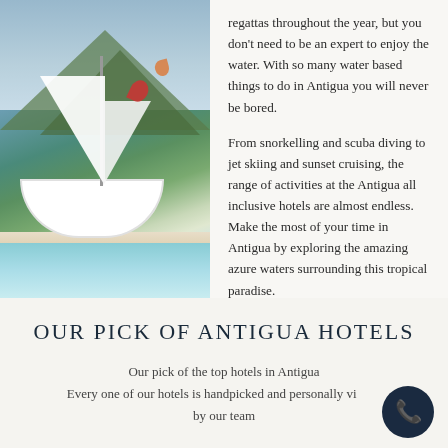[Figure (photo): Sailboat on a tropical beach with turquoise water, white sand, kite surfers in background, and green mountains behind]
regattas throughout the year, but you don't need to be an expert to enjoy the water. With so many water based things to do in Antigua you will never be bored.

From snorkelling and scuba diving to jet skiing and sunset cruising, the range of activities at the Antigua all inclusive hotels are almost endless. Make the most of your time in Antigua by exploring the amazing azure waters surrounding this tropical paradise.
OUR PICK OF ANTIGUA HOTELS
Our pick of the top hotels in Antigua
Every one of our hotels is handpicked and personally visited by our team